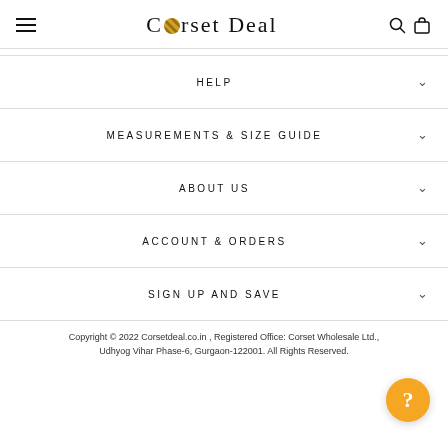Corset Deal
HELP
MEASUREMENTS & SIZE GUIDE
ABOUT US
ACCOUNT & ORDERS
SIGN UP AND SAVE
Copyright © 2022 Corsetdeal.co.in , Registered Office: Corset Wholesale Ltd., Udhyog Vihar Phase-6, Gurgaon-122001. All Rights Reserved.